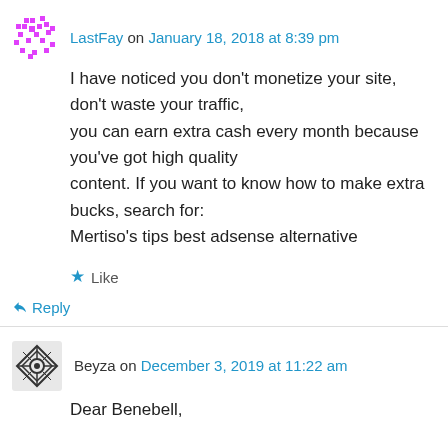LastFay on January 18, 2018 at 8:39 pm
I have noticed you don't monetize your site, don't waste your traffic, you can earn extra cash every month because you've got high quality content. If you want to know how to make extra bucks, search for: Mertiso's tips best adsense alternative
Like
Reply
Beyza on December 3, 2019 at 11:22 am
Dear Benebell,
Thank you so much for reviewing this card deck